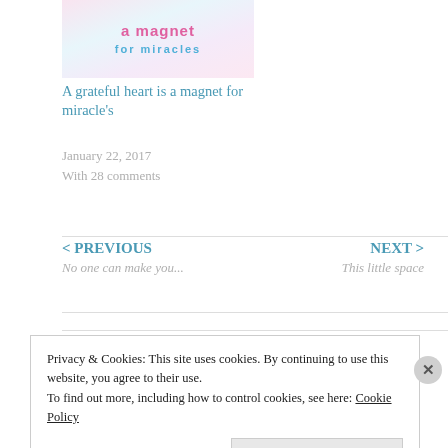[Figure (photo): Blog post thumbnail image showing colorful magnetic letters spelling 'a magnet for miracles']
A grateful heart is a magnet for miracle's
January 22, 2017
With 28 comments
< PREVIOUS
No one can make you...
NEXT >
This little space
Privacy & Cookies: This site uses cookies. By continuing to use this website, you agree to their use.
To find out more, including how to control cookies, see here: Cookie Policy
Close and accept